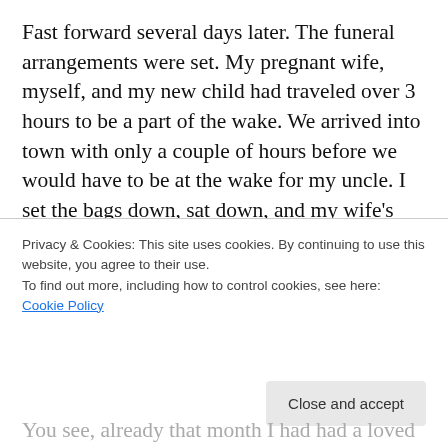Fast forward several days later. The funeral arrangements were set. My pregnant wife, myself, and my new child had traveled over 3 hours to be a part of the wake. We arrived into town with only a couple of hours before we would have to be at the wake for my uncle. I set the bags down, sat down, and my wife's cell phone rings. She answers the phone and within minutes her countenance changes drastically. On the other end was my mother-in-law relaying that her doctors appointment did not go as expected and she had been diagnosed with cancer. Wow
Privacy & Cookies: This site uses cookies. By continuing to use this website, you agree to their use.
To find out more, including how to control cookies, see here: Cookie Policy
Close and accept
You see, already that month I had had a loved one